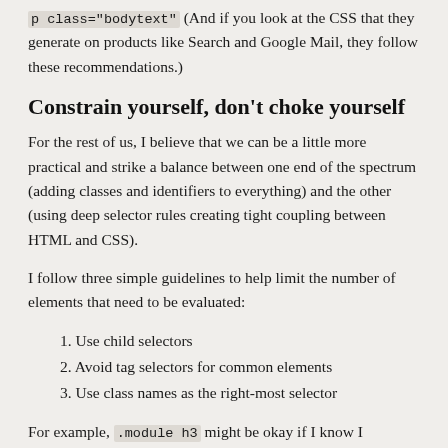p class="bodytext" (And if you look at the CSS that they generate on products like Search and Google Mail, they follow these recommendations.)
Constrain yourself, don't choke yourself
For the rest of us, I believe that we can be a little more practical and strike a balance between one end of the spectrum (adding classes and identifiers to everything) and the other (using deep selector rules creating tight coupling between HTML and CSS).
I follow three simple guidelines to help limit the number of elements that need to be evaluated:
1. Use child selectors
2. Avoid tag selectors for common elements
3. Use class names as the right-most selector
For example, .module h3 might be okay if I know I